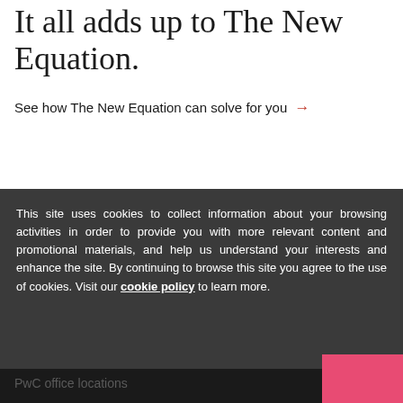It all adds up to The New Equation.
See how The New Equation can solve for you →
This site uses cookies to collect information about your browsing activities in order to provide you with more relevant content and promotional materials, and help us understand your interests and enhance the site. By continuing to browse this site you agree to the use of cookies. Visit our cookie policy to learn more.
PwC office locations